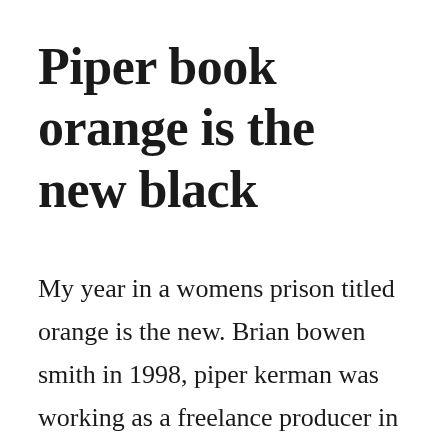Piper book orange is the new black
My year in a womens prison titled orange is the new. Brian bowen smith in 1998, piper kerman was working as a freelance producer in new york city and living a peaceful life with her magazine editor. Orange is the new black by piper kerman, 97803499869, available at book depository with free delivery